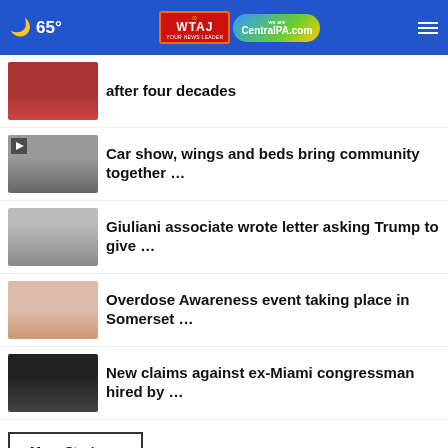65° | WTAJ CentralPA.com
after four decades
Car show, wings and beds bring community together …
Giuliani associate wrote letter asking Trump to give …
Overdose Awareness event taking place in Somerset …
New claims against ex-Miami congressman hired by …
More Stories ›